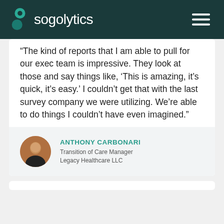sogolytics
“The kind of reports that I am able to pull for our exec team is impressive. They look at those and say things like, ‘This is amazing, it’s quick, it’s easy.’ I couldn’t get that with the last survey company we were utilizing. We’re able to do things I couldn’t have even imagined.”
ANTHONY CARBONARI
Transition of Care Manager
Legacy Healthcare LLC